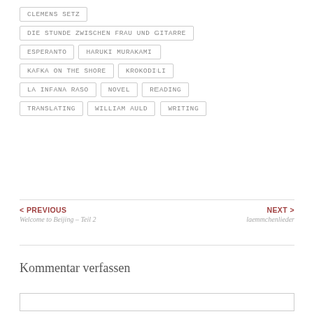CLEMENS SETZ
DIE STUNDE ZWISCHEN FRAU UND GITARRE
ESPERANTO
HARUKI MURAKAMI
KAFKA ON THE SHORE
KROKODILI
LA INFANA RASO
NOVEL
READING
TRANSLATING
WILLIAM AULD
WRITING
< PREVIOUS
Welcome to Beijing – Teil 2
NEXT >
laemmchenlieder
Kommentar verfassen